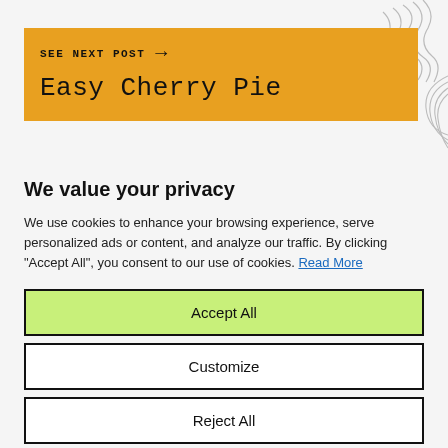[Figure (illustration): Decorative swirl/wave line art in top-right corner and mid-right area of the page]
SEE NEXT POST →
Easy Cherry Pie
We value your privacy
We use cookies to enhance your browsing experience, serve personalized ads or content, and analyze our traffic. By clicking "Accept All", you consent to our use of cookies. Read More
Accept All
Customize
Reject All